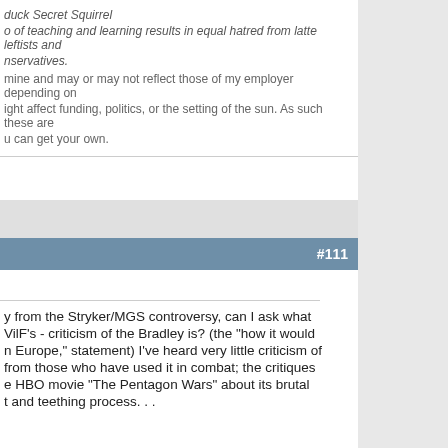duck Secret Squirrel
o of teaching and learning results in equal hatred from latte leftists and
nservatives.
mine and may or may not reflect those of my employer depending on
ight affect funding, politics, or the setting of the sun. As such these are
u can get your own.
#111
y from the Stryker/MGS controversy, can I ask what
VilF's - criticism of the Bradley is? (the "how it would
n Europe," statement) I've heard very little criticism of
from those who have used it in combat; the critiques
e HBO movie "The Pentagon Wars" about its brutal
t and teething process. . .